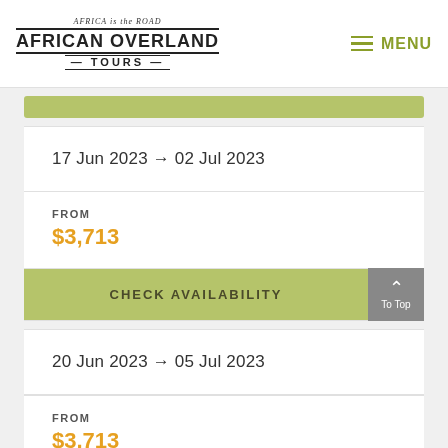AFRICA is the ROAD AFRICAN OVERLAND TOURS
17 Jun 2023 → 02 Jul 2023
FROM $3,713
CHECK AVAILABILITY
20 Jun 2023 → 05 Jul 2023
FROM $3,713